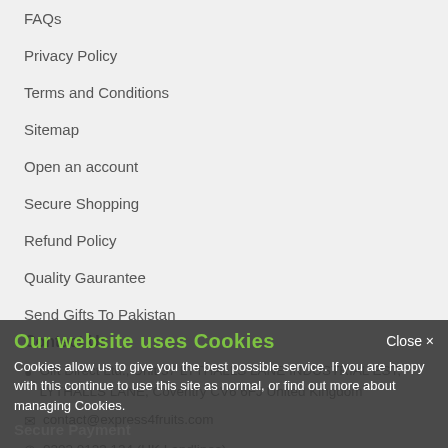FAQs
Privacy Policy
Terms and Conditions
Sitemap
Open an account
Secure Shopping
Refund Policy
Quality Gaurantee
Send Gifts To Pakistan
Contact Us
Gift Direct Ltd., Unit 37 LYTHALLS LANE INDUSTRIAL EST, LYTHALLS LANE, Coventry CV6 6FJ United Kingdom
contact@express4fruits.com
0203 0123 124 (UK Landlines)
Registered in England & Wales No: 9659715
VAT Reg: 854411632
Secure Payment
Our website uses Cookies
Cookies allow us to give you the best possible service. If you are happy with this continue to use this site as normal, or find out more about managing Cookies.
Close ×